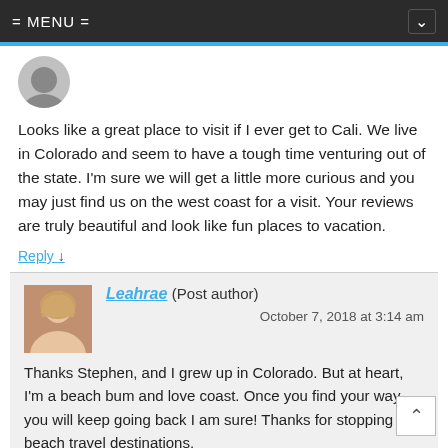= MENU =
[Figure (illustration): Generic user avatar placeholder icon (grey silhouette)]
Looks like a great place to visit if I ever get to Cali. We live in Colorado and seem to have a tough time venturing out of the state. I'm sure we will get a little more curious and you may just find us on the west coast for a visit. Your reviews are truly beautiful and look like fun places to vacation.
Reply ↓
[Figure (photo): Profile photo of Leahrae, a blonde woman]
Leahrae (Post author)
October 7, 2018 at 3:14 am
Thanks Stephen, and I grew up in Colorado. But at heart, I'm a beach bum and love coast. Once you find your way, you will keep going back I am sure! Thanks for stopping by beach travel destinations.
Reply ↓